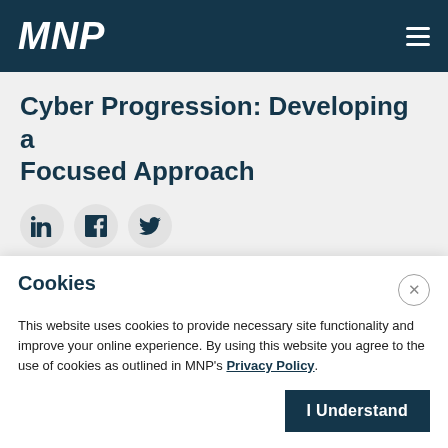MNP
Cyber Progression: Developing a Focused Approach
[Figure (infographic): Social media share icons: LinkedIn, Facebook, Twitter in circular grey buttons]
May 13, 2022
Cookies
This website uses cookies to provide necessary site functionality and improve your online experience. By using this website you agree to the use of cookies as outlined in MNP's Privacy Policy.
I Understand